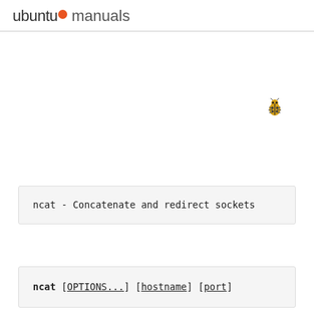ubuntu manuals
[Figure (illustration): Small ladybug/bug icon positioned in the upper right area of the page]
ncat - Concatenate and redirect sockets
ncat [OPTIONS...] [hostname] [port]